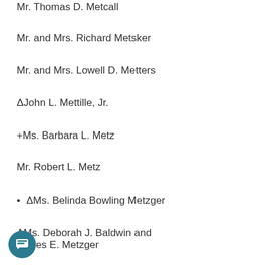Mr. Thomas D. Metcall
Mr. and Mrs. Richard Metsker
Mr. and Mrs. Lowell D. Metters
ΔJohn L. Mettille, Jr.
+Ms. Barbara L. Metz
Mr. Robert L. Metz
ΔMs. Belinda Bowling Metzger
ΔMs. Deborah J. Baldwin and James E. Metzger